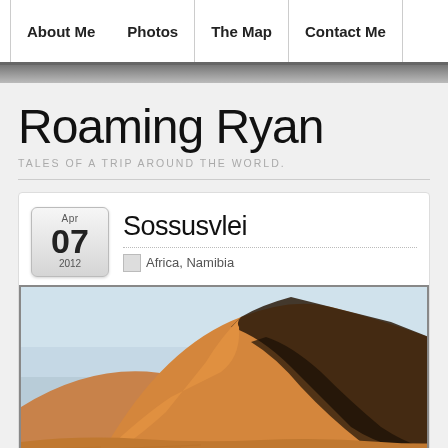About Me | Photos | The Map | Contact Me
Roaming Ryan
TALES OF A TRIP AROUND THE WORLD.
Sossusvlei
Apr 07 2012
Africa, Namibia
[Figure (photo): Desert sand dunes at Sossusvlei, Namibia — large orange/red dune with dark shadowed face against pale blue sky]